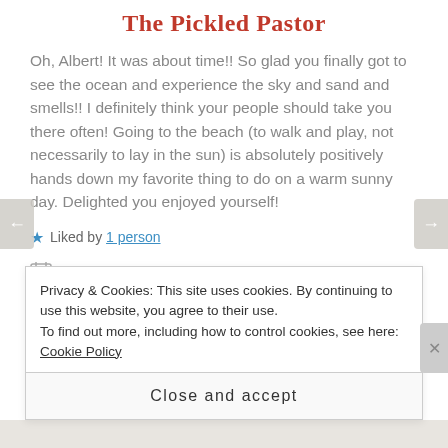The Pickled Pastor
Oh, Albert! It was about time!! So glad you finally got to see the ocean and experience the sky and sand and smells!! I definitely think your people should take you there often! Going to the beach (to walk and play, not necessarily to lay in the sun) is absolutely positively hands down my favorite thing to do on a warm sunny day. Delighted you enjoyed yourself!
Liked by 1 person
APRIL 27, 2015 AT 12:36 PM
Privacy & Cookies: This site uses cookies. By continuing to use this website, you agree to their use.
To find out more, including how to control cookies, see here: Cookie Policy
Close and accept